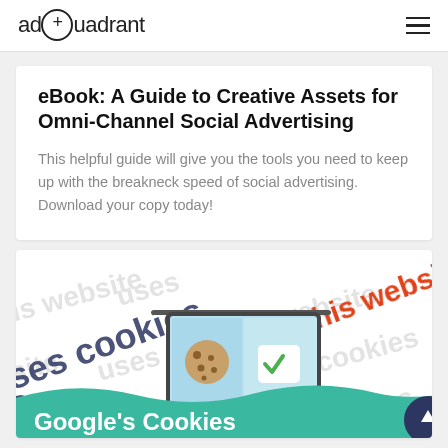adQuadrant
eBook: A Guide to Creative Assets for Omni-Channel Social Advertising
This helpful guide will give you the tools you need to keep up with the breakneck speed of social advertising. Download your copy today!
[Figure (illustration): Cookie consent banner illustration with a laptop showing a cookie icon and a checkmark, with repeating 'This website uses cookies' text in the background and a teal wave at the bottom with 'Google's Cookies' text in white]